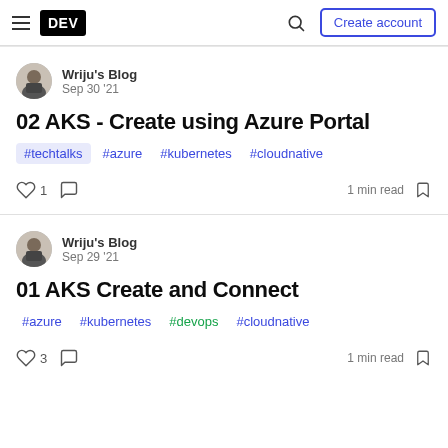DEV — Create account
Wriju's Blog
Sep 30 '21
02 AKS - Create using Azure Portal
#techtalks #azure #kubernetes #cloudnative
1  1 min read
Wriju's Blog
Sep 29 '21
01 AKS Create and Connect
#azure #kubernetes #devops #cloudnative
3  1 min read